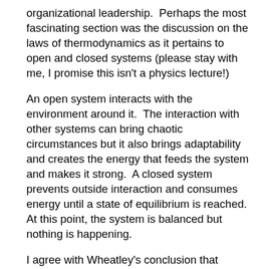organizational leadership.  Perhaps the most fascinating section was the discussion on the laws of thermodynamics as it pertains to open and closed systems (please stay with me, I promise this isn't a physics lecture!)
An open system interacts with the environment around it.  The interaction with other systems can bring chaotic circumstances but it also brings adaptability and creates the energy that feeds the system and makes it strong.  A closed system prevents outside interaction and consumes energy until a state of equilibrium is reached.  At this point, the system is balanced but nothing is happening.
I agree with Wheatley's conclusion that organizations operating as closed systems will also consume the available energy and reach a state where it reaches equilibrium…deeply admiring its own reflection and accomplishing nothing.
An open system where all things are challenged from outside influence may leave you uncomfortable at times, but it is